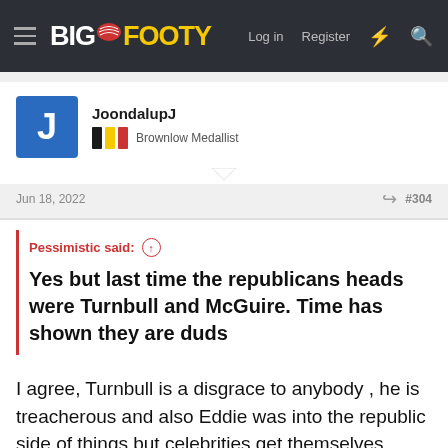BigFooty — Log in | Register
JoondalupJ
Brownlow Medallist
Jun 18, 2022  #304
Pessimistic said: ↑
Yes but last time the republicans heads were Turnbull and McGuire. Time has shown they are duds
I agree, Turnbull is a disgrace to anybody , he is treacherous and also Eddie was into the republic side of things but celebrities get themselves easily confused, Ed his millionaire show well ,and has done a lot for footy